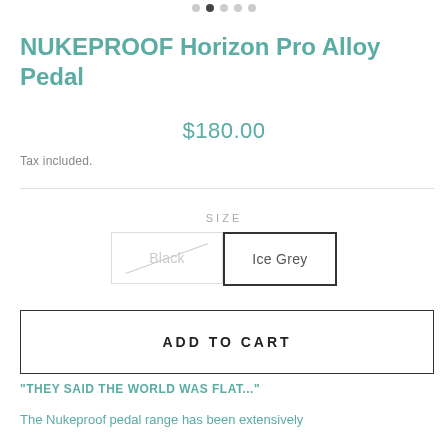NUKEPROOF Horizon Pro Alloy Pedal
$180.00
Tax included.
SIZE
Black
Ice Grey
ADD TO CART
“THEY SAID THE WORLD WAS FLAT...”
The Nukeproof pedal range has been extensively